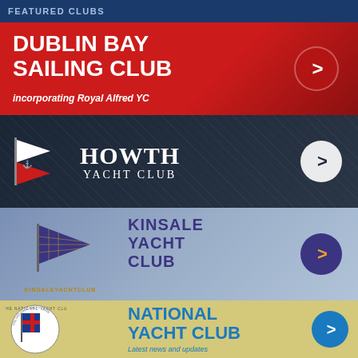FEATURED CLUBS
[Figure (logo): Dublin Bay Sailing Club red banner with white bold text 'DUBLIN BAY SAILING CLUB incorporating Royal Alfred YC' and right-arrow circle button]
[Figure (logo): Howth Yacht Club dark navy banner with pennant flag, serif white text 'HOWTH YACHT CLUB' and white circle arrow button]
[Figure (logo): Kinsale Yacht Club light blue-grey banner with pennant flag logo, navy text 'KINSALE YACHT CLUB' and dark purple circle arrow button]
[Figure (logo): National Yacht Club yellow banner with crest logo, blue text 'NATIONAL YACHT CLUB', subtext 'Latest news and updates' and blue circle arrow button]